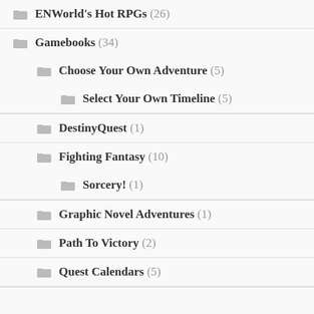ENWorld's Hot RPGs (26)
Gamebooks (34)
Choose Your Own Adventure (5)
Select Your Own Timeline (5)
DestinyQuest (1)
Fighting Fantasy (10)
Sorcery! (1)
Graphic Novel Adventures (1)
Path To Victory (2)
Quest Calendars (5)